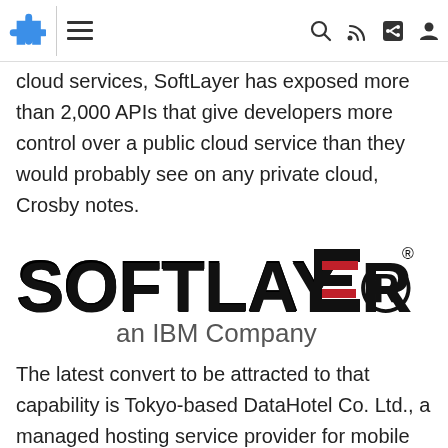Navigation bar with puzzle icon, hamburger menu, search, RSS, share, and profile icons
cloud services, SoftLayer has exposed more than 2,000 APIs that give developers more control over a public cloud service than they would probably see on any private cloud, Crosby notes.
[Figure (logo): SoftLayer an IBM Company logo — bold black letters SOFTLAYER with red double-line accent replacing the E, and 'an IBM Company' in gray below]
The latest convert to be attracted to that capability is Tokyo-based DataHotel Co. Ltd., a managed hosting service provider for mobile and smartphone application developers.